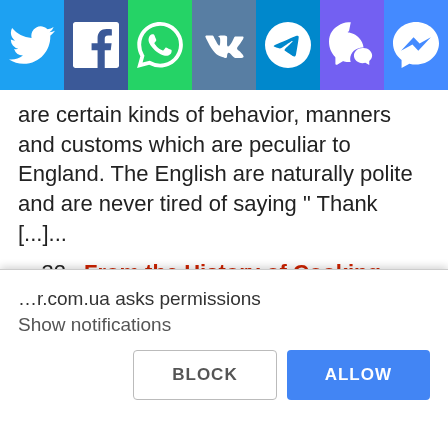[Figure (screenshot): Social media sharing bar with icons for Twitter, Facebook, WhatsApp, VK, Telegram, Viber, and Messenger]
are certain kinds of behavior, manners and customs which are peculiar to England. The English are naturally polite and are never tired of saying " Thank [...]...
32. From the History of Cooking Today cooking is quite an art. There are great chefs, famous restaurants, thousands and thousands of cookclubs, and millions of people who are proud of being able to cook well. Yet there was a time when man didn't even cook his food. The early cave man
…r.com.ua asks permissions
Show notifications